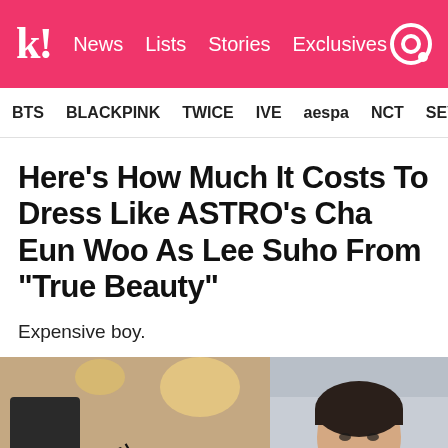k! News Lists Stories Exclusives
BTS  BLACKPINK  TWICE  IVE  aespa  NCT  SEVE
Here’s How Much It Costs To Dress Like ASTRO’s Cha Eun Woo As Lee Suho From “True Beauty”
Expensive boy.
[Figure (photo): Two-panel image: left panel shows a young man in an interior setting with warm lighting and a Saint Laurent Paris branding overlay in large diagonal text; right panel shows a young man with a bowl cut hairstyle against an outdoor background.]